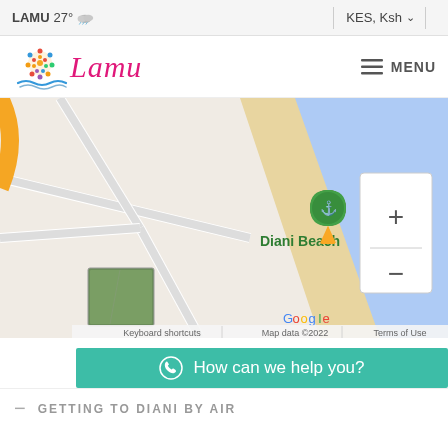LAMU  27°  ☁  |  KES, Ksh ∨  |
[Figure (logo): Lamu tourism website logo: colorful sun/sea illustration with 'Lamu' in pink italic script]
≡  MENU
[Figure (map): Google Maps screenshot showing Diani Beach area with a location pin, beach/ocean coastline, zoom controls (+/-), satellite thumbnail, and footer text: Keyboard shortcuts | Map data ©2022 | Terms of Use]
How can we help you?
GETTING TO DIANI BY AIR